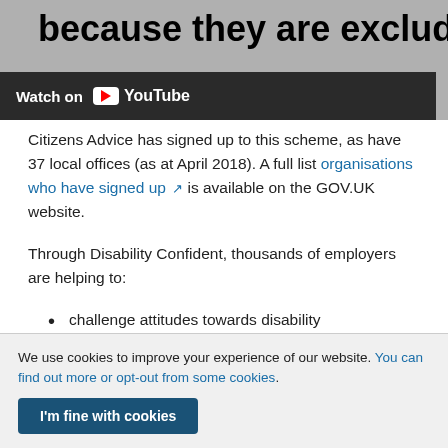[Figure (screenshot): YouTube video thumbnail banner showing partial title text 'because they are excluding disabled' with Watch on YouTube overlay bar]
Citizens Advice has signed up to this scheme, as have 37 local offices (as at April 2018). A full list organisations who have signed up [external link] is available on the GOV.UK website.
Through Disability Confident, thousands of employers are helping to:
challenge attitudes towards disability
increase understanding of disability
We use cookies to improve your experience of our website. You can find out more or opt-out from some cookies.
I'm fine with cookies